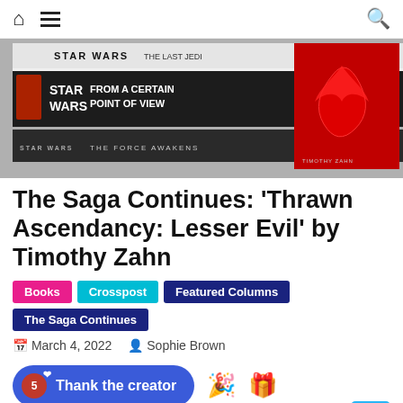Home | Menu | Search
[Figure (photo): Star Wars book spines stacked horizontally: Star Wars The Last Jedi by Jason Fry, Star Wars From A Certain Point Of View (40th Anniversary), Star Wars The Force Awakens. Right side shows a red dramatic cover by Timothy Zahn.]
The Saga Continues: ‘Thrawn Ascendancy: Lesser Evil’ by Timothy Zahn
Books | Crosspost | Featured Columns | The Saga Continues
March 4, 2022   Sophie Brown
Thank the creator
Thrawn Ascendancy: Lesser Evil completes Timothy Zahn's latest three-book trilogy and is the last...